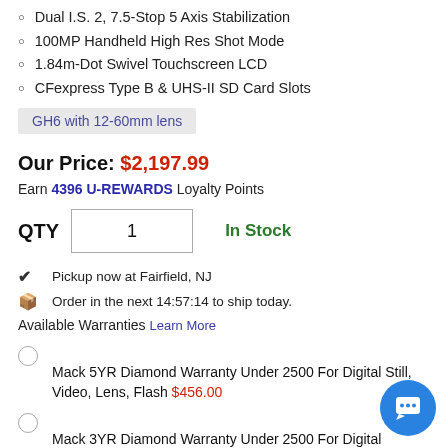Dual I.S. 2, 7.5-Stop 5 Axis Stabilization
100MP Handheld High Res Shot Mode
1.84m-Dot Swivel Touchscreen LCD
CFexpress Type B & UHS-II SD Card Slots
GH6 with 12-60mm lens
Our Price: $2,197.99
Earn 4396 U-REWARDS Loyalty Points
QTY  1   In Stock
Pickup now at Fairfield, NJ
Order in the next 14:57:14 to ship today.
Available Warranties Learn More
Mack 5YR Diamond Warranty Under 2500 For Digital Still, Video, Lens, Flash $456.00
Mack 3YR Diamond Warranty Under 2500 For Digital